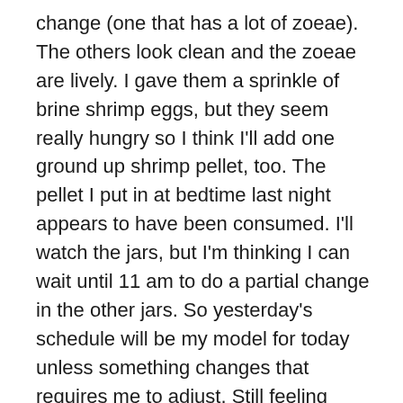change (one that has a lot of zoeae). The others look clean and the zoeae are lively. I gave them a sprinkle of brine shrimp eggs, but they seem really hungry so I think I'll add one ground up shrimp pellet, too. The pellet I put in at bedtime last night appears to have been consumed. I'll watch the jars, but I'm thinking I can wait until 11 am to do a partial change in the other jars. So yesterday's schedule will be my model for today unless something changes that requires me to adjust. Still feeling optimistic.
Here's a link to a video that shows